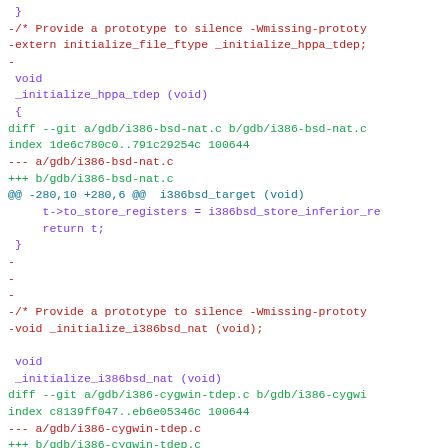Diff/patch code showing git changes to gdb i386-bsd-nat.c and i386-cygwin-tdep.c files with removed lines (red), added lines (green), and context lines (purple/dark)